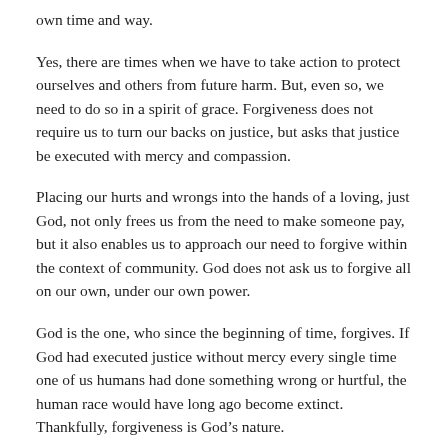own time and way.
Yes, there are times when we have to take action to protect ourselves and others from future harm. But, even so, we need to do so in a spirit of grace. Forgiveness does not require us to turn our backs on justice, but asks that justice be executed with mercy and compassion.
Placing our hurts and wrongs into the hands of a loving, just God, not only frees us from the need to make someone pay, but it also enables us to approach our need to forgive within the context of community. God does not ask us to forgive all on our own, under our own power.
God is the one, who since the beginning of time, forgives. If God had executed justice without mercy every single time one of us humans had done something wrong or hurtful, the human race would have long ago become extinct. Thankfully, forgiveness is God’s nature.
Because God knows we can’t forgive the way we should and need to, God gave us his forgiveness in the person of Jesus Christ. Jesus, in his life and death, experienced some tremendous